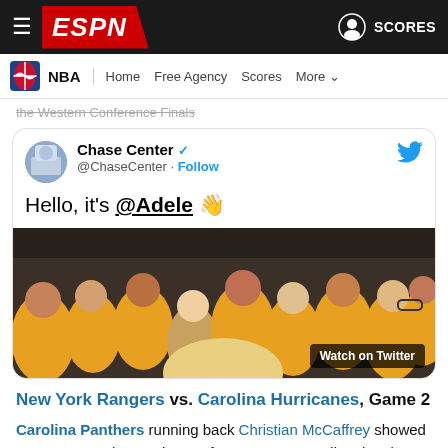ESPN — NBA | Home | Free Agency | Scores | More
the Western Conference Finals
[Figure (screenshot): Embedded tweet from @ChaseCenter with text 'Hello, it's @Adele 👋' and a photo of fans in yellow Warriors jerseys at Chase Center with 'Watch on Twitter' overlay]
New York Rangers vs. Carolina Hurricanes, Game 2
Carolina Panthers running back Christian McCaffrey showed up to support the Hurricanes for Game 2, sounding the siren